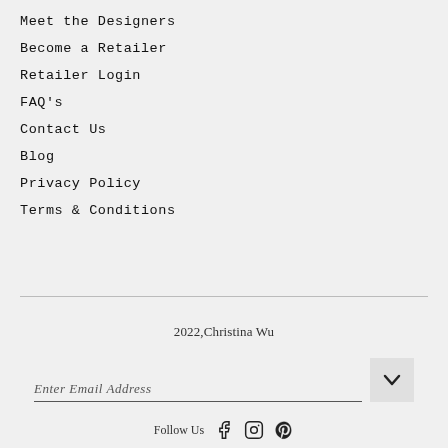Meet the Designers
Become a Retailer
Retailer Login
FAQ's
Contact Us
Blog
Privacy Policy
Terms & Conditions
2022,Christina Wu
Enter Email Address
Follow Us